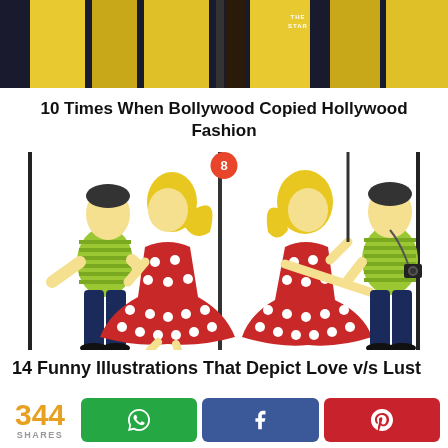[Figure (photo): Top portion of page with yellow/golden curtain-like bars against dark background, with 'THE STAR' logo badge visible]
10 Times When Bollywood Copied Hollywood Fashion
[Figure (illustration): Cartoon illustration showing two couples side by side: a girl in a red polka-dot dress with a boy in green striped shirt on each side, with a number 8 badge at the top center dividing line]
14 Funny Illustrations That Depict Love v/s Lust
[Figure (photo): Photo of Bollywood celebrities at an event, with a number 9 badge at top center]
344 SHARES